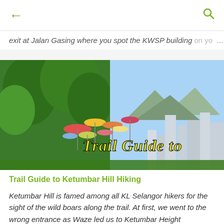← (back) | (search icon)
exit at Jalan Gasing where you spot the KWSP building on yo... ...
[Figure (photo): Outdoor scene with colorful umbrellas hanging on poles among trees, with a cityscape visible in the background including mountains. Yellow text overlay reads 'Trail Guide to']
Trail Guide to Ketumbar Hill Hiking
Ketumbar Hill is famed among all KL Selangor hikers for the sight of the wild boars along the trail. At first, we went to the wrong entrance as Waze led us to Ketumbar Height Condominium instead of the hill entrance. Thanks to the secu... ...